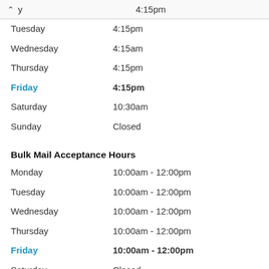Monday (partial) 4:15pm
Tuesday 4:15pm
Wednesday 4:15am
Thursday 4:15pm
Friday 4:15pm
Saturday 10:30am
Sunday Closed
Bulk Mail Acceptance Hours
Monday 10:00am - 12:00pm
Tuesday 10:00am - 12:00pm
Wednesday 10:00am - 12:00pm
Thursday 10:00am - 12:00pm
Friday 10:00am - 12:00pm
Saturday Closed
Sunday Closed
*This facility does not process US Passports applications or renewals. Check nearby locations below.